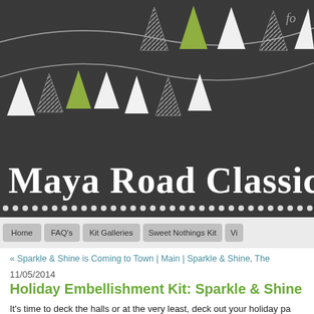[Figure (illustration): Chalkboard banner header with bunting/pennant flags in white, green, and diagonal stripe patterns. Decorative dots border at the bottom of the banner.]
Maya Road Classic
Home
FAQ's
Kit Galleries
Sweet Nothings Kit
Vi...
« Sparkle & Shine is Coming to Town | Main | Sparkle & Shine, The
11/05/2014
Holiday Embellishment Kit: Sparkle & Shine Re
It's time to deck the halls or at the very least, deck out your holiday pa Embellishment Kit is all about sparkle, shimmer and shine! We're so t We're so...